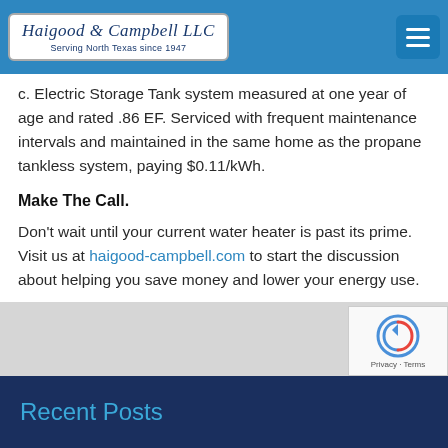Haigood & Campbell LLC — Serving North Texas since 1947
c. Electric Storage Tank system measured at one year of age and rated .86 EF. Serviced with frequent maintenance intervals and maintained in the same home as the propane tankless system, paying $0.11/kWh.
Make The Call.
Don't wait until your current water heater is past its prime. Visit us at haigood-campbell.com to start the discussion about helping you save money and lower your energy use.
Recent Posts